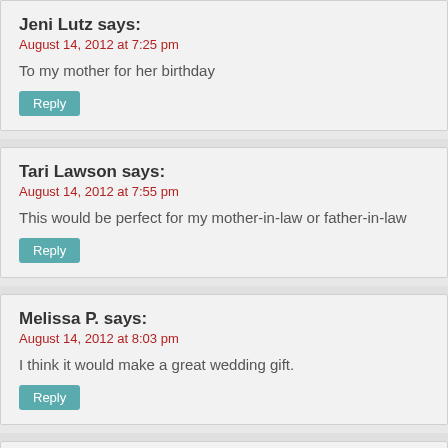Jeni Lutz says:
August 14, 2012 at 7:25 pm
To my mother for her birthday
Tari Lawson says:
August 14, 2012 at 7:55 pm
This would be perfect for my mother-in-law or father-in-law
Melissa P. says:
August 14, 2012 at 8:03 pm
I think it would make a great wedding gift.
Jean F says:
August 14, 2012 at 8:18 pm